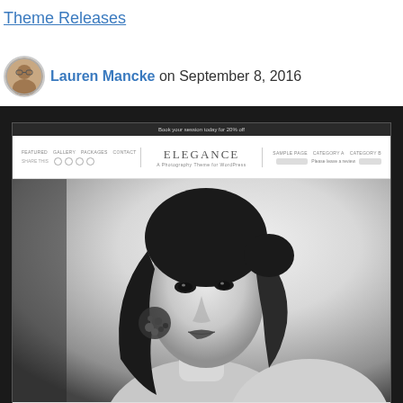Theme Releases
Lauren Mancke on September 8, 2016
[Figure (screenshot): Screenshot of the Elegance WordPress photography theme displayed in a dark browser frame, showing a black and white portrait of a woman with jewelry]